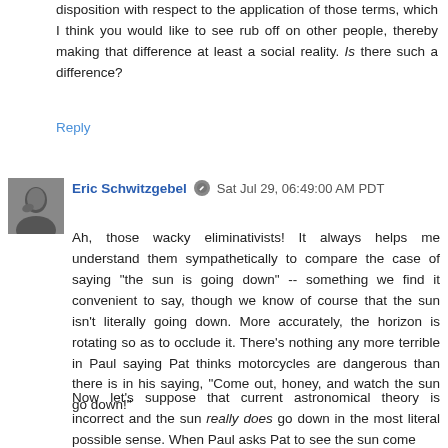disposition with respect to the application of those terms, which I think you would like to see rub off on other people, thereby making that difference at least a social reality. Is there such a difference?
Reply
Eric Schwitzgebel  Sat Jul 29, 06:49:00 AM PDT
Ah, those wacky eliminativists! It always helps me understand them sympathetically to compare the case of saying "the sun is going down" -- something we find it convenient to say, though we know of course that the sun isn't literally going down. More accurately, the horizon is rotating so as to occlude it. There's nothing any more terrible in Paul saying Pat thinks motorcycles are dangerous than there is in his saying, "Come out, honey, and watch the sun go down!"
Now let's suppose that current astronomical theory is incorrect and the sun really does go down in the most literal possible sense. When Paul asks Pat to see the sun come down...